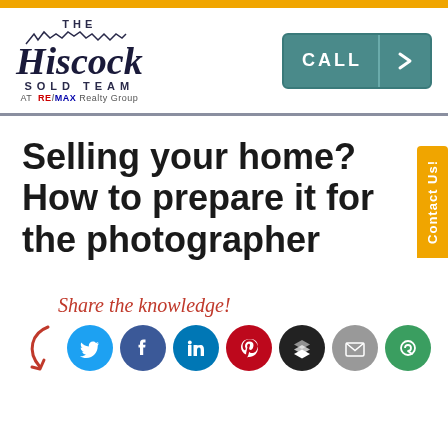[Figure (logo): The Hiscock Sold Team at RE/MAX Realty Group logo with cityline silhouette above script text]
[Figure (other): Teal CALL button with arrow]
Selling your home? How to prepare it for the photographer
[Figure (other): Orange vertical Contact Us! tab on right side]
Share the knowledge!
[Figure (infographic): Social sharing icons: Twitter, Facebook, LinkedIn, Pinterest, Buffer/Feedly, Email, GetResponse with red curved arrow]